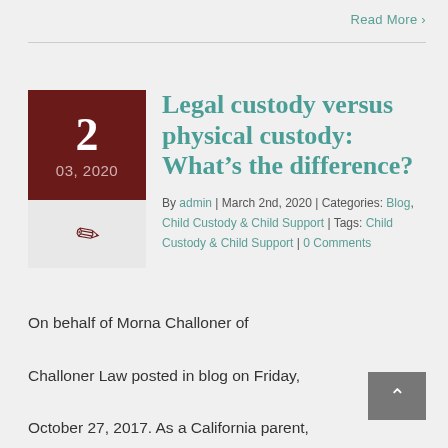Read More >
Legal custody versus physical custody: What's the difference?
By admin | March 2nd, 2020 | Categories: Blog, Child Custody & Child Support | Tags: Child Custody & Child Support | 0 Comments
On behalf of Morna Challoner of Challoner Law posted in blog on Friday, October 27, 2017. As a California parent, you may be concerned about how your